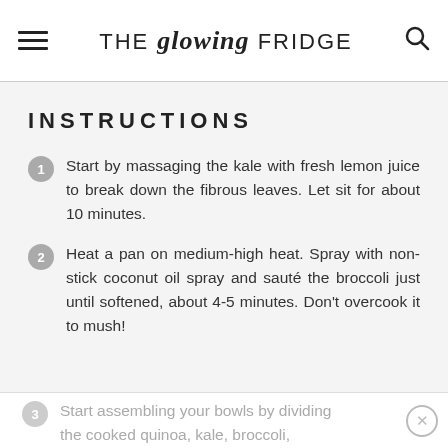THE glowing FRIDGE
INSTRUCTIONS
Start by massaging the kale with fresh lemon juice to break down the fibrous leaves. Let sit for about 10 minutes.
Heat a pan on medium-high heat. Spray with non-stick coconut oil spray and sauté the broccoli just until softened, about 4-5 minutes. Don't overcook it to mush!
Start assembling your bowls by dividing the cooked quinoa, kale, broccoli,